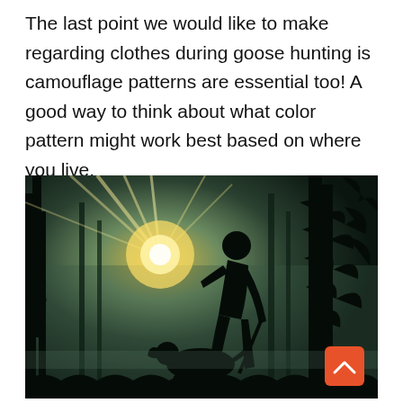The last point we would like to make regarding clothes during goose hunting is camouflage patterns are essential too! A good way to think about what color pattern might work best based on where you live.
[Figure (photo): Silhouette of a hunter with a dog in a misty forest with sunlight rays breaking through trees in the background. A scroll-to-top orange button is visible in the bottom-right corner of the image.]